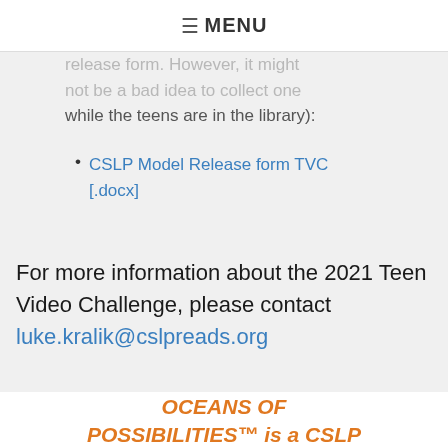☰ MENU
release form. However, it might not be a bad idea to collect one while the teens are in the library):
CSLP Model Release form TVC [.docx]
For more information about the 2021 Teen Video Challenge, please contact luke.kralik@cslpreads.org
OCEANS OF POSSIBILITIES™ is a CSLP